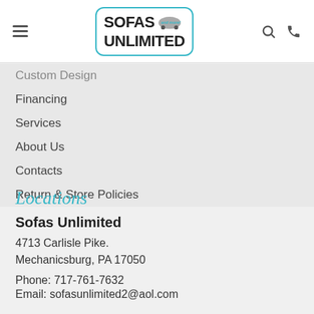Sofas Unlimited and more! [logo with navigation icons]
Custom Design
Financing
Services
About Us
Contacts
Return & Store Policies
Locations
Sofas Unlimited
4713 Carlisle Pike.
Mechanicsburg, PA 17050
Phone: 717-761-7632
Email: sofasunlimited2@aol.com